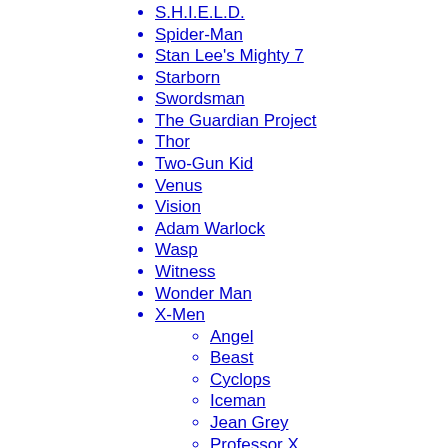S.H.I.E.L.D.
Spider-Man
Stan Lee's Mighty 7
Starborn
Swordsman
The Guardian Project
Thor
Two-Gun Kid
Venus
Vision
Adam Warlock
Wasp
Witness
Wonder Man
X-Men
Angel
Beast
Cyclops
Iceman
Jean Grey
Professor X
Yondu
Zombie
Abomination